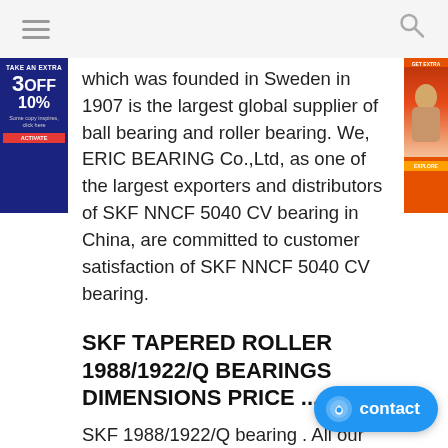navigation header with hamburger menu and search icon
which was founded in Sweden in 1907 is the largest global supplier of ball bearing and roller bearing. We, ERIC BEARING Co.,Ltd, as one of the largest exporters and distributors of SKF NNCF 5040 CV bearing in China, are committed to customer satisfaction of SKF NNCF 5040 CV bearing.
SKF TAPERED ROLLER 1988/1922/Q BEARINGS DIMENSIONS PRICE ....
SKF 1988/1922/Q bearing . All our bearing ensure quality . please contact Email for any inquiry sales@tanchin.hk SKF 1988/1922/Q. d： 28,575mm single row. D： 57,15mm Tapered roller bearings, T： 19,845mm Principal dimensions . c： 45 dynamic Basic load ratings